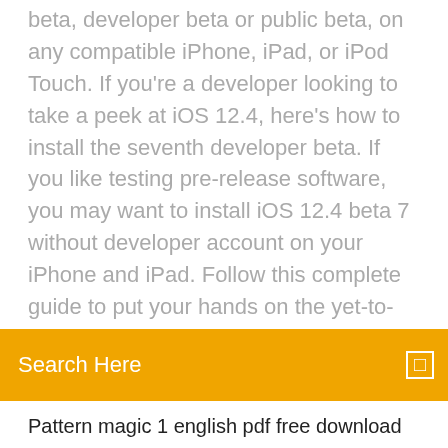beta, developer beta or public beta, on any compatible iPhone, iPad, or iPod Touch. If you're a developer looking to take a peek at iOS 12.4, here's how to install the seventh developer beta. If you like testing pre-release software, you may want to install iOS 12.4 beta 7 without developer account on your iPhone and iPad. Follow this complete guide to put your hands on the yet-to-
[Figure (other): Orange search bar with placeholder text 'Search Here' and a small white square icon on the right]
Pattern magic 1 english pdf free download
The hustle download torrent
Download textnow premium cracked working in italy apk
Professional logo design - adobe illustrator cs6 download
Hana odbc driver download
Reddit vita download psp save data without pc
Beta cliend download fallout 76 pc
Download rocky iv torrent
Youtube mp4 4k download free
The sims 4 seasons slow with mod download